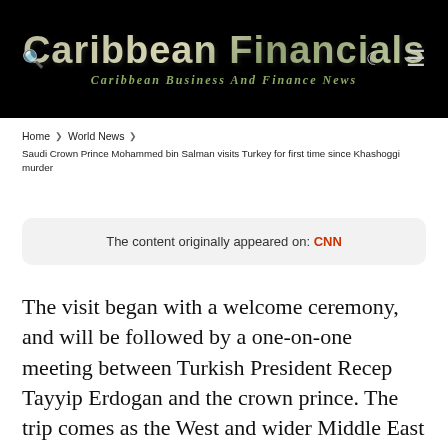Caribbean Financials – Caribbean Business And Finance News
Home › World News › Saudi Crown Prince Mohammed bin Salman visits Turkey for first time since Khashoggi murder
The content originally appeared on: CNN
The visit began with a welcome ceremony, and will be followed by a one-on-one meeting between Turkish President Recep Tayyip Erdogan and the crown prince. The trip comes as the West and wider Middle East seek to repair relations with the oil-rich kingdom, in a bid to alleviate financial strains prompted by the pandemic and sky-high energy prices sparked by Russia's invasion of